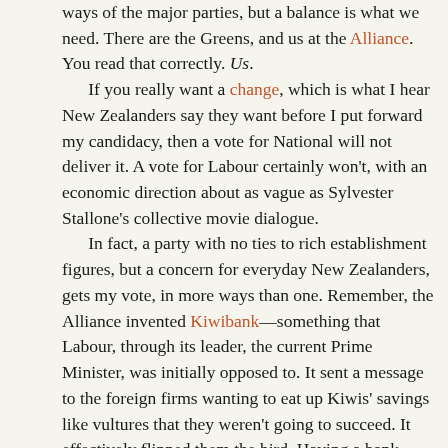ways of the major parties, but a balance is what we need. There are the Greens, and us at the Alliance. You read that correctly. Us.

If you really want a change, which is what I hear New Zealanders say they want before I put forward my candidacy, then a vote for National will not deliver it. A vote for Labour certainly won't, with an economic direction about as vague as Sylvester Stallone's collective movie dialogue.

In fact, a party with no ties to rich establishment figures, but a concern for everyday New Zealanders, gets my vote, in more ways than one. Remember, the Alliance invented Kiwibank—something that Labour, through its leader, the current Prime Minister, was initially opposed to. It sent a message to the foreign firms wanting to eat up Kiwis' savings like vultures that they weren't going to succeed. It effectively flipped them the bird. Having a bank owned by New Zealanders prevents some of the exposure to the whims of foreign profiteers—and we've seen plenty of that happen from the Australian-owned banks. Bank fees, anyone?